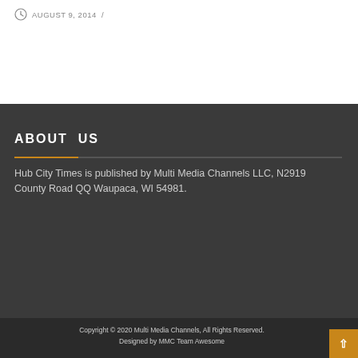AUGUST 9, 2014 /
ABOUT US
Hub City Times is published by Multi Media Channels LLC, N2919 County Road QQ Waupaca, WI 54981.
Copyright © 2020 Multi Media Channels, All Rights Reserved. Designed by MMC Team Awesome